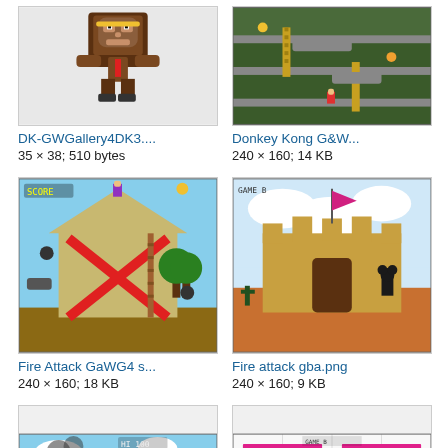[Figure (screenshot): Pixel art sprite of Donkey Kong character]
DK-GWGallery4DK3....
35 × 38; 510 bytes
[Figure (screenshot): Donkey Kong Game & Watch screenshot showing side-scrolling level with ladders and pipes]
Donkey Kong G&W...
240 × 160; 14 KB
[Figure (screenshot): Fire Attack GaWG4 screenshot showing barn scene with character on top]
Fire Attack GaWG4 s...
240 × 160; 18 KB
[Figure (screenshot): Fire attack GBA screenshot showing castle scene with Mickey Mouse-style character]
Fire attack gba.png
240 × 160; 9 KB
[Figure (screenshot): Screenshot showing castle/town scene with characters and fire effects]
[Figure (screenshot): Screenshot showing top-down map/level view with pink and cyan elements]